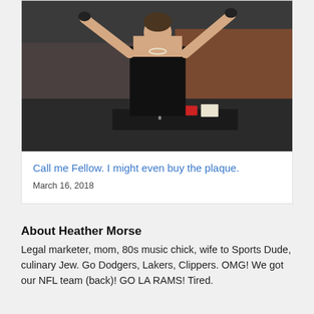[Figure (photo): Woman in black strapless dress with arms raised in celebration, appears to be at an awards ceremony on a stage with microphone stand and podium visible]
Call me Fellow. I might even buy the plaque.
March 16, 2018
About Heather Morse
Legal marketer, mom, 80s music chick, wife to Sports Dude, culinary Jew. Go Dodgers, Lakers, Clippers. OMG! We got our NFL team (back)! GO LA RAMS! Tired.